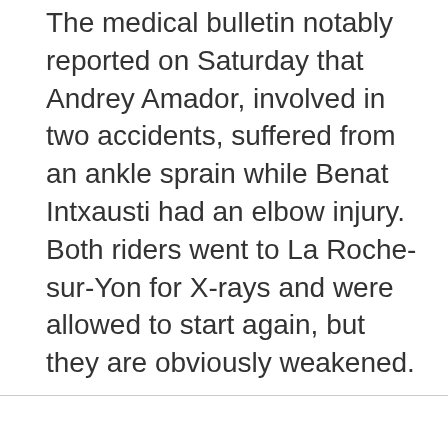The medical bulletin notably reported on Saturday that Andrey Amador, involved in two accidents, suffered from an ankle sprain while Benat Intxausti had an elbow injury. Both riders went to La Roche-sur-Yon for X-rays and were allowed to start again, but they are obviously weakened.